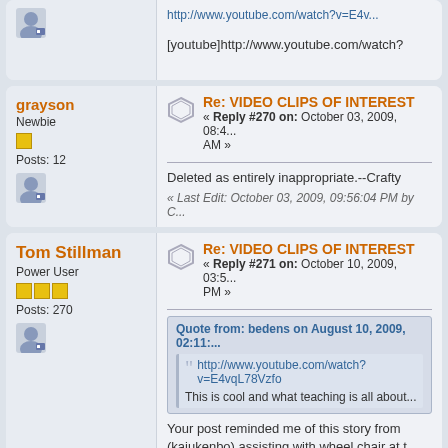http://www.youtube.com/watch?v=...
[youtube]http://www.youtube.com/watch?
grayson
Newbie
Posts: 12
Re: VIDEO CLIPS OF INTEREST
« Reply #270 on: October 03, 2009, 08:4... AM »
Deleted as entirely inappropriate.--Crafty
« Last Edit: October 03, 2009, 09:56:04 PM by C...
Tom Stillman
Power User
Posts: 270
Re: VIDEO CLIPS OF INTEREST
« Reply #271 on: October 10, 2009, 03:5... PM »
Quote from: bedens on August 10, 2009, 02:11:...
http://www.youtube.com/watch?v=E4vqL78Vzfo
This is cool and what teaching is all about...
Your post reminded me of this story from (kajukenbo) assisting with wheel chair at t
http://www.youtube.com/watch?v=r95iOB...